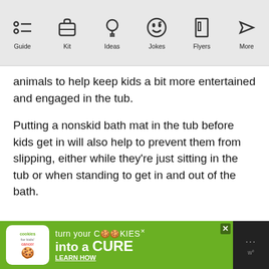[Figure (screenshot): App navigation bar with icons: Guide, Kit, Ideas, Jokes, Flyers, More]
animals to help keep kids a bit more entertained and engaged in the tub.
Putting a nonskid bath mat in the tub before kids get in will also help to prevent them from slipping, either while they're just sitting in the tub or when standing to get in and out of the bath.
[Figure (infographic): Advertisement banner: cookies for kids cancer - turn your COOKIES into a CURE LEARN HOW]